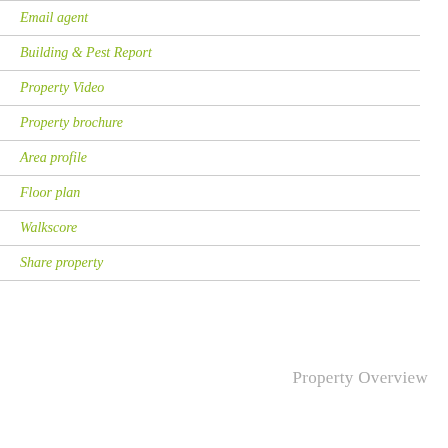Email agent
Building & Pest Report
Property Video
Property brochure
Area profile
Floor plan
Walkscore
Share property
Property Overview